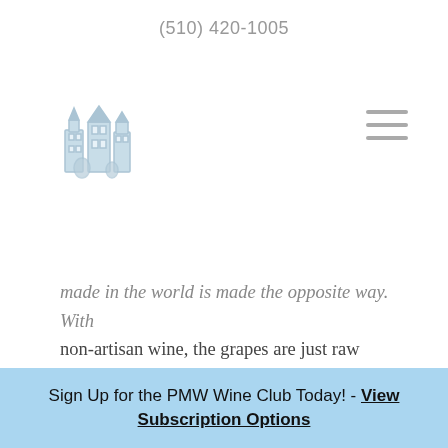(510) 420-1005
[Figure (logo): PMW wine shop logo with illustrated building/towers in light blue-gray]
made in the world is made the opposite way. With non-artisan wine, the grapes are just raw material that will be broken apart and adjusted as desired. If farming costs can be lowered, great; any shortcomings in the grapes can be corrected later. (The horror...) Industrial production may be necessary, but we should be very thankful that we have, and have access to, handmade wines from all
Sign Up for the PMW Wine Club Today! - View Subscription Options